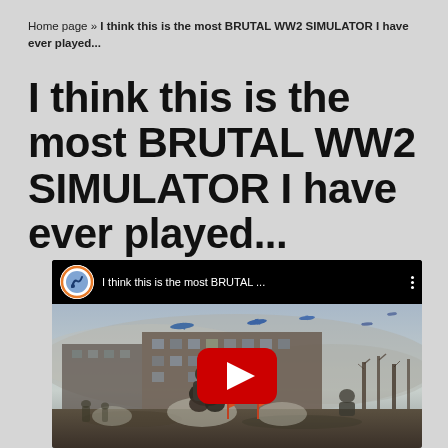Home page » I think this is the most BRUTAL WW2 SIMULATOR I have ever played...
I think this is the most BRUTAL WW2 SIMULATOR I have ever played...
[Figure (screenshot): YouTube video thumbnail showing a WW2 game scene with soldiers in smoke, planes in sky, and a war-damaged building. Video title: 'I think this is the most BRUTAL ...' with channel icon and three-dot menu. Red YouTube play button overlay in center.]